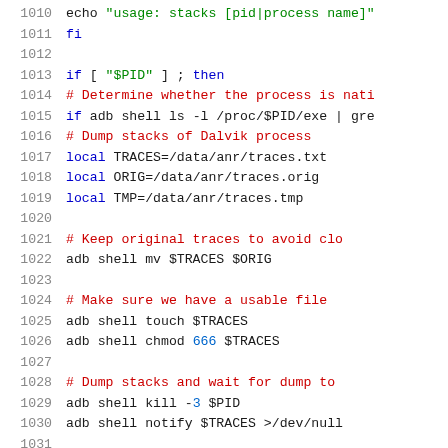[Figure (screenshot): Source code listing showing shell script lines 1010-1031 with syntax highlighting. Line numbers in gray on the left, keywords in blue, string literals in green, comments in red, numeric literals in blue.]